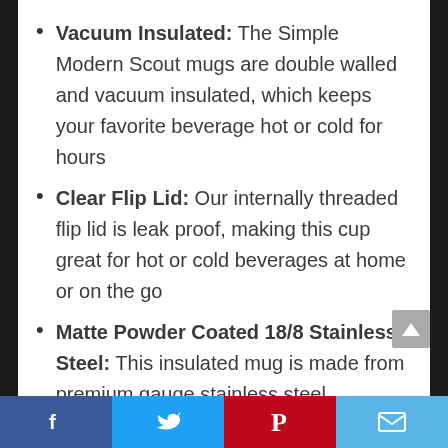Vacuum Insulated: The Simple Modern Scout mugs are double walled and vacuum insulated, which keeps your favorite beverage hot or cold for hours
Clear Flip Lid: Our internally threaded flip lid is leak proof, making this cup great for hot or cold beverages at home or on the go
Matte Powder Coated 18/8 Stainless Steel: This insulated mug is made from premium gauge stainless steel
[Figure (infographic): Social sharing bar at the bottom with Facebook (blue), Twitter (light blue), Pinterest (red), and Email (light blue) icons]